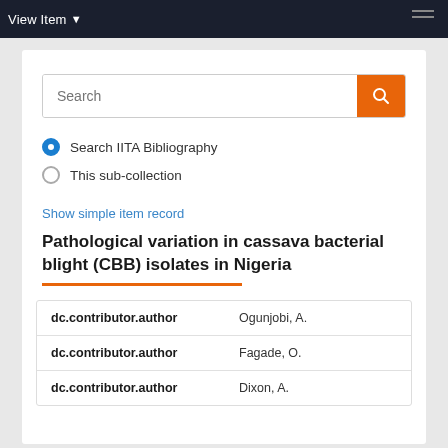View Item
[Figure (screenshot): Search input box with orange search button]
Search IITA Bibliography
This sub-collection
Show simple item record
Pathological variation in cassava bacterial blight (CBB) isolates in Nigeria
| Field | Value |
| --- | --- |
| dc.contributor.author | Ogunjobi, A. |
| dc.contributor.author | Fagade, O. |
| dc.contributor.author | Dixon, A. |